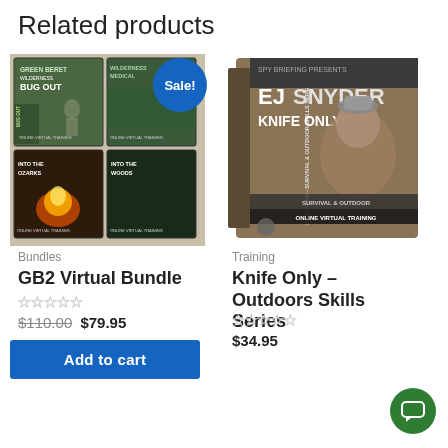Related products
[Figure (photo): GB2 Virtual Bundle product box set showing 4 DVD/video boxes: Green Beret Bug Out, Wilderness Medical, Into the Ozarks, Into the Woods. 'Sale!' badge in blue circle.]
Bundles
GB2 Virtual Bundle
☆☆☆☆☆
$110.00 $79.95
Add to cart
[Figure (photo): EJ Snyder Knife Only Survival & Outdoor Skills Series online virtual training product box.]
Training
Knife Only – Outdoors Skills Series
☆☆☆☆☆
$34.95